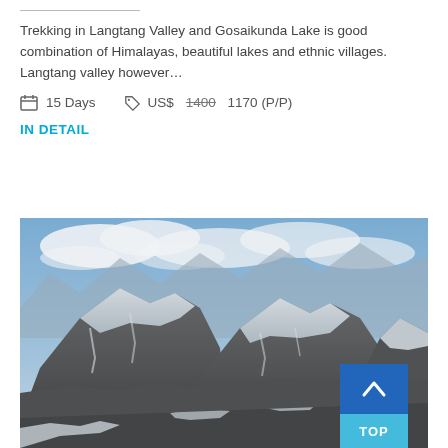Trekking in Langtang Valley and Gosaikunda Lake is good combination of Himalayas, beautiful lakes and ethnic villages. Langtang valley however…
15 Days   US$ 1400 1170 (P/P)
IN DETAIL
[Figure (photo): Panoramic mountain landscape showing snow-capped Himalayan peaks with rocky terrain and a valley below under a partly cloudy sky. Black and white toned photograph.]